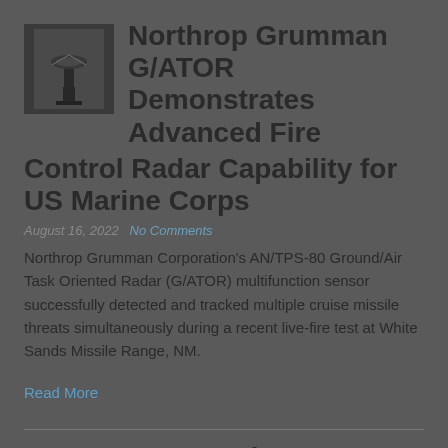[Figure (photo): Small thumbnail photo of the G/ATOR radar system, dark/grayscale image showing radar equipment]
Northrop Grumman G/ATOR Demonstrates Advanced Fire Control Radar Capability for US Marine Corps
August 16, 2022   No Comments
Northrop Grumman Corporation's AN/TPS-80 Ground/Air Task Oriented Radar (G/ATOR) multifunction sensor successfully detected and tracked multiple cruise missile threats simultaneously during a recent live-fire test at White Sands Missile Range, NM.
Read More
VIAVI 6G Forward Program Drives